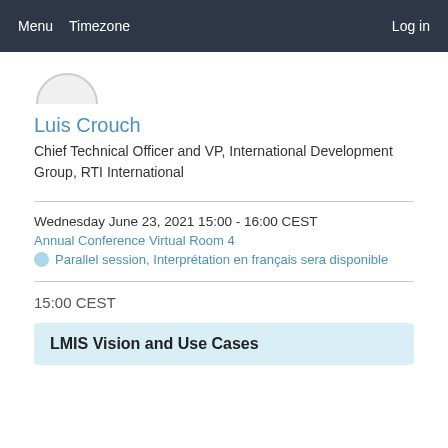Menu   Timezone   Log in
[Figure (illustration): Partial avatar/profile picture circle at top of content area]
Luis Crouch
Chief Technical Officer and VP, International Development Group, RTI International
Wednesday June 23, 2021 15:00 - 16:00 CEST
Annual Conference Virtual Room 4
Parallel session, Interprétation en français sera disponible
15:00 CEST
LMIS Vision and Use Cases